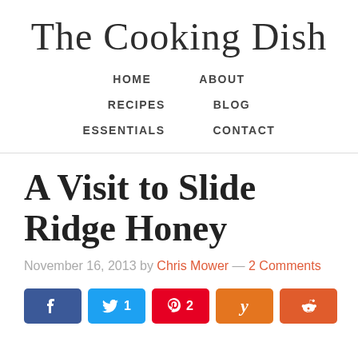The Cooking Dish
HOME   ABOUT   RECIPES   BLOG   ESSENTIALS   CONTACT
A Visit to Slide Ridge Honey
November 16, 2013 by Chris Mower — 2 Comments